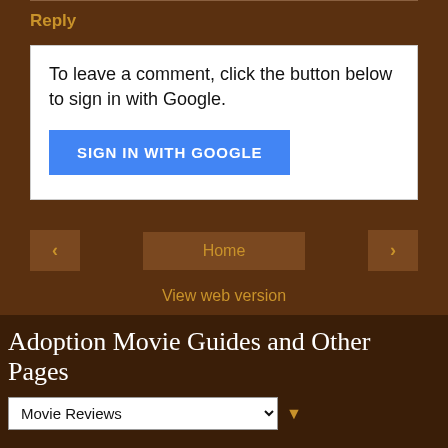Reply
To leave a comment, click the button below to sign in with Google.
SIGN IN WITH GOOGLE
Home
View web version
Adoption Movie Guides and Other Pages
Movie Reviews
Powered by Blogger.
[Figure (logo): Open Adoption Bloggers logo on green background]